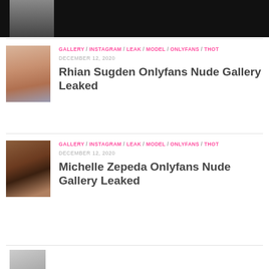[Figure (photo): Dark top bar with partial thumbnail of a person's lower body]
GALLERY / INSTAGRAM / LEAK / MODEL / ONLYFANS / THOT
DECEMBER 12, 2020
Rhian Sugden Onlyfans Nude Gallery Leaked
[Figure (photo): Mirror selfie thumbnail]
GALLERY / INSTAGRAM / LEAK / MODEL / ONLYFANS / THOT
DECEMBER 12, 2020
Michelle Zepeda Onlyfans Nude Gallery Leaked
[Figure (photo): Mirror selfie thumbnail second item]
[Figure (photo): Bottom partial thumbnail]